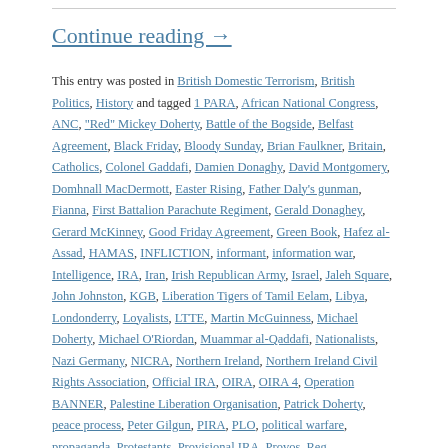Continue reading →
This entry was posted in British Domestic Terrorism, British Politics, History and tagged 1 PARA, African National Congress, ANC, "Red" Mickey Doherty, Battle of the Bogside, Belfast Agreement, Black Friday, Bloody Sunday, Brian Faulkner, Britain, Catholics, Colonel Gaddafi, Damien Donaghy, David Montgomery, Domhnall MacDermott, Easter Rising, Father Daly's gunman, Fianna, First Battalion Parachute Regiment, Gerald Donaghey, Gerard McKinney, Good Friday Agreement, Green Book, Hafez al-Assad, HAMAS, INFLICTION, informant, information war, Intelligence, IRA, Iran, Irish Republican Army, Israel, Jaleh Square, John Johnston, KGB, Liberation Tigers of Tamil Eelam, Libya, Londonderry, Loyalists, LTTE, Martin McGuinness, Michael Doherty, Michael O'Riordan, Muammar al-Qaddafi, Nationalists, Nazi Germany, NICRA, Northern Ireland, Northern Ireland Civil Rights Association, Official IRA, OIRA, OIRA 4, Operation BANNER, Palestine Liberation Organisation, Patrick Doherty, peace process, Peter Gilgun, PIRA, PLO, political warfare, propaganda, Protestants, Provisional IRA, Provos, Reg